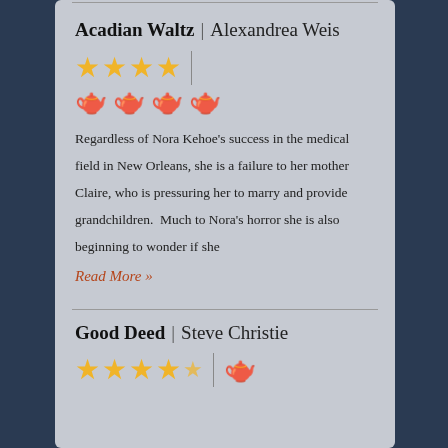Acadian Waltz | Alexandrea Weis
[Figure (illustration): Four gold stars followed by a vertical pipe separator, then four teapot icons below]
Regardless of Nora Kehoe's success in the medical field in New Orleans, she is a failure to her mother Claire, who is pressuring her to marry and provide grandchildren.  Much to Nora's horror she is also beginning to wonder if she
Read More »
Good Deed | Steve Christie
[Figure (illustration): Four gold stars and partial fifth star with a teapot icon]